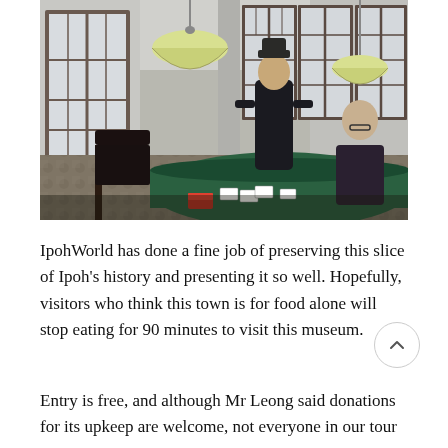[Figure (photo): Interior of IpohWorld museum showing two mannequins/figures seated at a green card table playing cards, with vintage hanging dome lamps (yellow-green), tall white French windows with dark frames, and patterned tile flooring.]
IpohWorld has done a fine job of preserving this slice of Ipoh's history and presenting it so well. Hopefully, visitors who think this town is for food alone will stop eating for 90 minutes to visit this museum.
Entry is free, and although Mr Leong said donations for its upkeep are welcome, not everyone in our tour